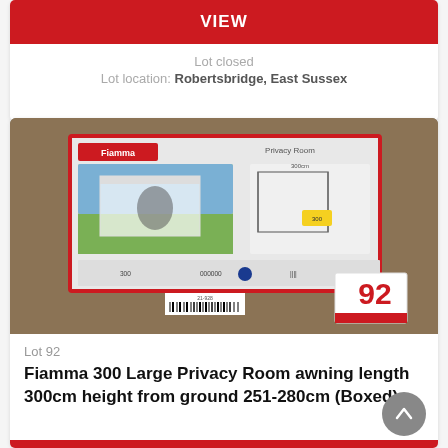VIEW
Lot closed
Lot location: Robertsbridge, East Sussex
[Figure (photo): Product box for Fiamma 300 Large Privacy Room awning showing packaging with product image on front, lot number tag 92 visible]
Lot 92
Fiamma 300 Large Privacy Room awning length 300cm height from ground 251-280cm (Boxed)